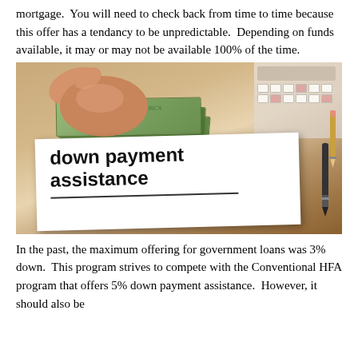mortgage.  You will need to check back from time to time because this offer has a tendancy to be unpredictable.  Depending on funds available, it may or may not be available 100% of the time.
[Figure (photo): Photo collage showing a hand holding US dollar bills, a calculator in the top right corner, and a white piece of paper in the foreground with 'down payment assistance' written in bold black text, with a pen beside the paper. Background is a wooden surface.]
In the past, the maximum offering for government loans was 3% down.  This program strives to compete with the Conventional HFA program that offers 5% down payment assistance.  However, it should also be